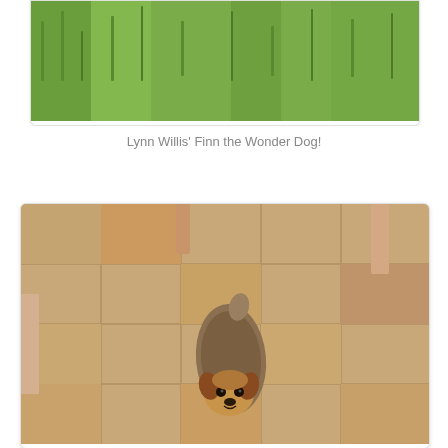[Figure (photo): Partial view of a dog (Finn the Wonder Dog) against green grass background, card cropped at top]
Lynn Willis' Finn the Wonder Dog!
[Figure (photo): Small terrier dog (Mr. Cuddles) looking up at camera from tiled floor, with table legs visible in background]
Celia Fowler's Mr. Cuddles looks worth every $$$...
[Figure (photo): Partial view of tiled floor, bottom of page, third card cropped]